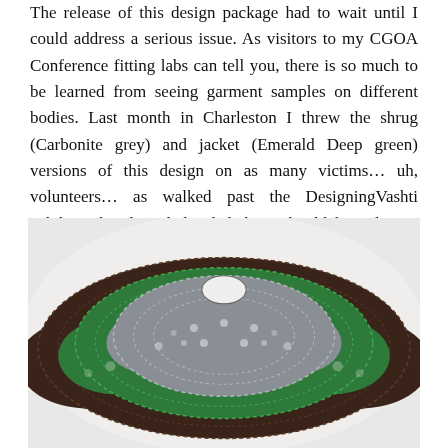The release of this design package had to wait until I could address a serious issue. As visitors to my CGOA Conference fitting labs can tell you, there is so much to be learned from seeing garment samples on different bodies. Last month in Charleston I threw the shrug (Carbonite grey) and jacket (Emerald Deep green) versions of this design on as many victims… uh, volunteers… as walked past the DesigningVashti exhibitor booth and decided there should be a larger, roomier version (Dark Roast brown). Done.
[Figure (photo): Photograph of three layered crochet shrug/jacket garments laid flat on a white surface, showing three sizes/colors: outermost in dark brown (Dark Roast brown), middle in emerald green (Emerald Deep green), and innermost in grey (Carbonite grey).]